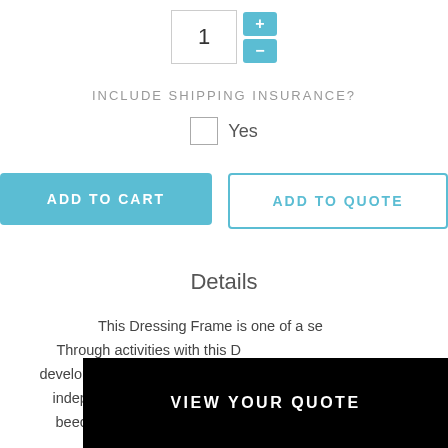1 (quantity input with + and - buttons)
INCLUDE SHIPPING INSURANCE?
Yes (checkbox)
ADD TO CART
ADD TO QUOTE
Details
This Dressing Frame is one of a se... Through activities with this D... develops coordination, ability t... independence. This Dressing Frame is constructed of beechwood with durable textile securely attached for
VIEW YOUR QUOTE